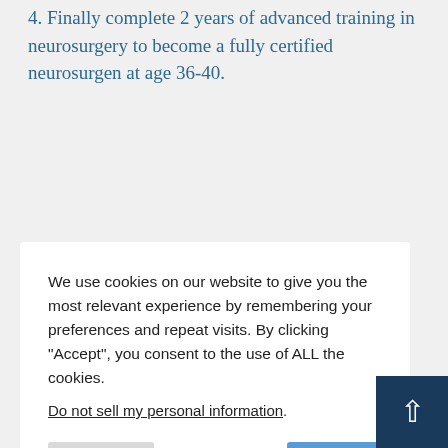4. Finally complete 2 years of advanced training in neurosurgery to become a fully certified neurosurgen at age 36-40.
r in mal wyer) so he can s than 10% t. If you want to n try doing all traight face ans in Europe o become a cal school is t and mply less else would all the foreign people flock here to go to medical school? The AMA keeps people who lack the mental focus, hard work attitude, and problem solving skills necesarry to learn how
We use cookies on our website to give you the most relevant experience by remembering your preferences and repeat visits. By clicking “Accept”, you consent to the use of ALL the cookies.

Do not sell my personal information.